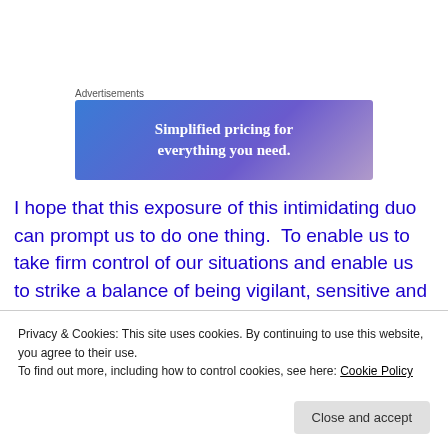Advertisements
[Figure (illustration): Advertisement banner with gradient blue-to-purple background and white text reading 'Simplified pricing for everything you need.']
I hope that this exposure of this intimidating duo can prompt us to do one thing.  To enable us to take firm control of our situations and enable us to strike a balance of being vigilant, sensitive and proactive without being
Privacy & Cookies: This site uses cookies. By continuing to use this website, you agree to their use.
To find out more, including how to control cookies, see here: Cookie Policy
Close and accept
* * * * *